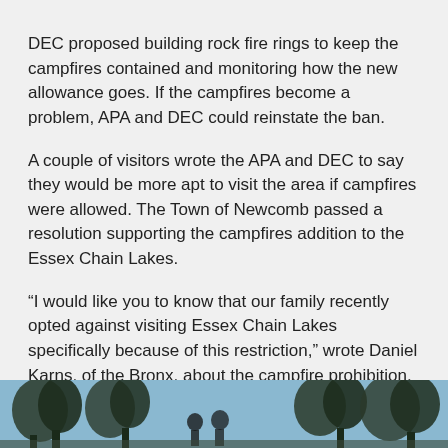DEC proposed building rock fire rings to keep the campfires contained and monitoring how the new allowance goes. If the campfires become a problem, APA and DEC could reinstate the ban.
A couple of visitors wrote the APA and DEC to say they would be more apt to visit the area if campfires were allowed. The Town of Newcomb passed a resolution supporting the campfires addition to the Essex Chain Lakes.
“I would like you to know that our family recently opted against visiting Essex Chain Lakes specifically because of this restriction,” wrote Daniel Karns, of the Bronx, about the campfire prohibition.
[Figure (photo): Partial photo strip at bottom of page showing trees/nature scene in blue-tinted black and white]